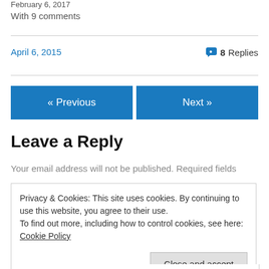February 6, 2017
With 9 comments
April 6, 2015
8 Replies
« Previous
Next »
Leave a Reply
Your email address will not be published. Required fields
Privacy & Cookies: This site uses cookies. By continuing to use this website, you agree to their use.
To find out more, including how to control cookies, see here: Cookie Policy
Close and accept